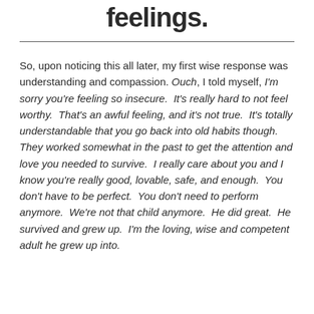feelings.
So, upon noticing this all later, my first wise response was understanding and compassion. Ouch, I told myself, I'm sorry you're feeling so insecure.  It's really hard to not feel worthy.  That's an awful feeling, and it's not true.  It's totally understandable that you go back into old habits though.  They worked somewhat in the past to get the attention and love you needed to survive.  I really care about you and I know you're really good, lovable, safe, and enough.  You don't have to be perfect.  You don't need to perform anymore.  We're not that child anymore.  He did great.  He survived and grew up.  I'm the loving, wise and competent adult he grew up into.